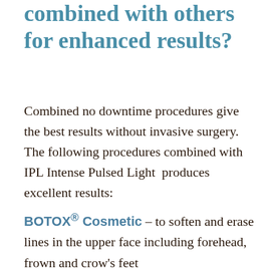combined with others for enhanced results?
Combined no downtime procedures give the best results without invasive surgery. The following procedures combined with IPL Intense Pulsed Light produces excellent results:
BOTOX® Cosmetic – to soften and erase lines in the upper face including forehead, frown and crow's feet